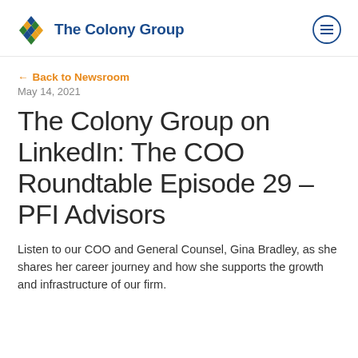The Colony Group
← Back to Newsroom
May 14, 2021
The Colony Group on LinkedIn: The COO Roundtable Episode 29 – PFI Advisors
Listen to our COO and General Counsel, Gina Bradley, as she shares her career journey and how she supports the growth and infrastructure of our firm.